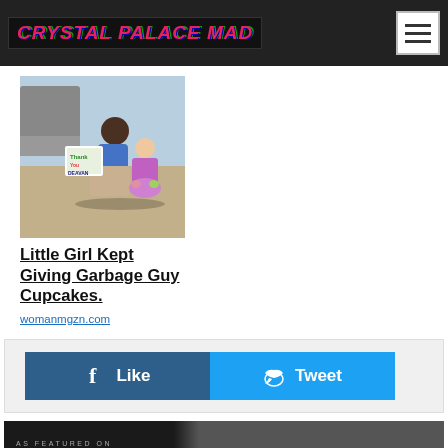CRYSTAL PALACE MAD
[Figure (photo): A man kneeling outside holding a colorful sign, with a little girl in a floral dress beside him, in front of a vehicle.]
Little Girl Kept Giving Garbage Guy Cupcakes.
womanmgzn.com
[Figure (infographic): Social sharing buttons: Like (Facebook, blue) and Tweet (Twitter, cyan)]
[Figure (infographic): AS FEATURED ON NEWS NOW > | Sport News 24/7]